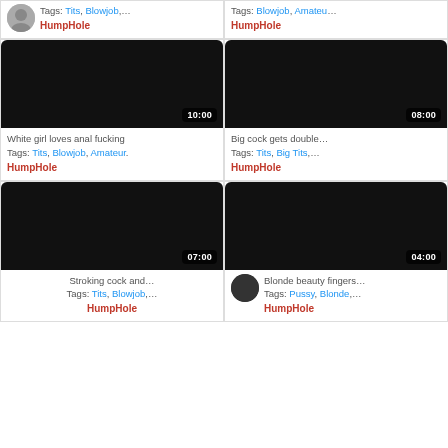[Figure (screenshot): Partial top card left: thumbnail with avatar, tags: Tits, Blowjob,... site: HumpHole]
[Figure (screenshot): Partial top card right: tags: Blowjob, Amateu... site: HumpHole]
[Figure (photo): Black video thumbnail, duration 10:00]
White girl loves anal fucking
Tags: Tits, Blowjob, Amateur.
HumpHole
[Figure (photo): Black video thumbnail, duration 08:00]
Big cock gets double...
Tags: Tits, Big Tits,...
HumpHole
[Figure (photo): Black video thumbnail, duration 07:00]
Stroking cock and...
Tags: Tits, Blowjob,...
HumpHole
[Figure (photo): Black video thumbnail, duration 04:00]
Blonde beauty fingers...
Tags: Pussy, Blonde,...
HumpHole